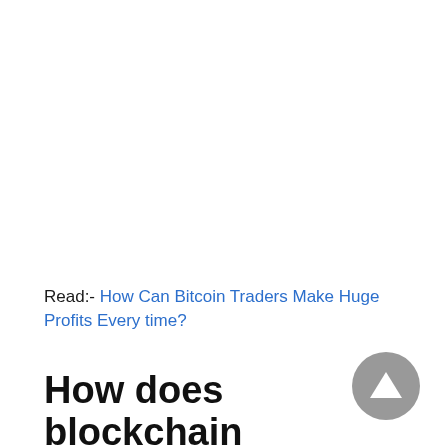Read:- How Can Bitcoin Traders Make Huge Profits Every time?
How does blockchain technology work?